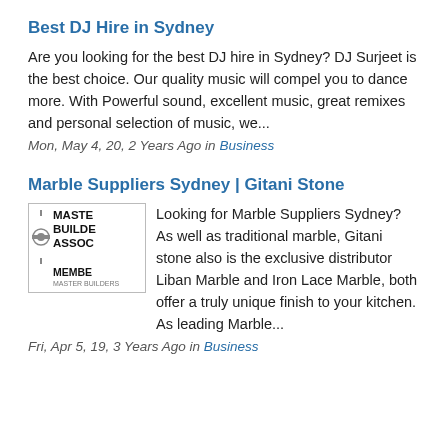Best DJ Hire in Sydney
Are you looking for the best DJ hire in Sydney? DJ Surjeet is the best choice. Our quality music will compel you to dance more. With Powerful sound, excellent music, great remixes and personal selection of music, we...
Mon, May 4, 20, 2 Years Ago in Business
Marble Suppliers Sydney | Gitani Stone
[Figure (logo): Master Builders Association member logo with gear icon and text MASTE BUILDE ASSOC MEMBE]
Looking for Marble Suppliers Sydney? As well as traditional marble, Gitani stone also is the exclusive distributor Liban Marble and Iron Lace Marble, both offer a truly unique finish to your kitchen. As leading Marble...
Fri, Apr 5, 19, 3 Years Ago in Business